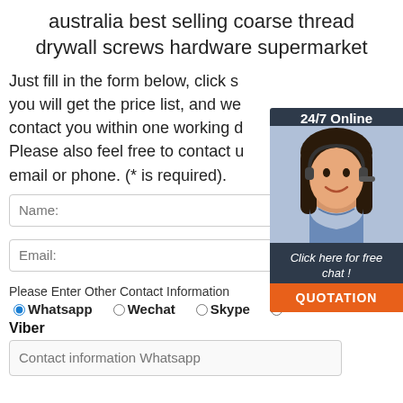australia best selling coarse thread drywall screws hardware supermarket
Just fill in the form below, click submit, you will get the price list, and we will contact you within one working day. Please also feel free to contact us via email or phone. (* is required).
[Figure (illustration): 24/7 Online chat widget with a woman wearing a headset, 'Click here for free chat!' text, and an orange QUOTATION button]
Name:
Email:
Please Enter Other Contact Information
Whatsapp
Wechat
Skype
Viber
Contact information Whatsapp